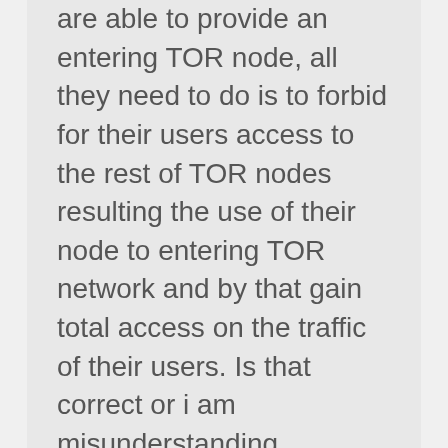are able to provide an entering TOR node, all they need to do is to forbid for their users access to the rest of TOR nodes resulting the use of their node to entering TOR network and by that gain total access on the traffic of their users. Is that correct or i am misunderstanding something?
Anonymous (not verified) said:    February 03, 2011
Permalink
With expansion, sorting out the rotten apples in the network